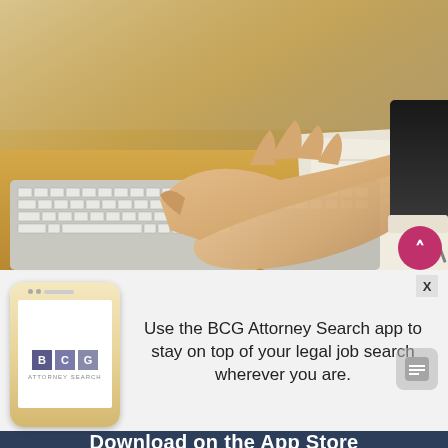[Figure (photo): A person in a suit reaching a hand over a desk with a white keyboard, papers and pens on a wooden desk surface]
Use the BCG Attorney Search app to stay on top of your legal job search wherever you are.
[Figure (logo): BCG Attorney Search app logo on a smartphone mockup]
Download on the App Store